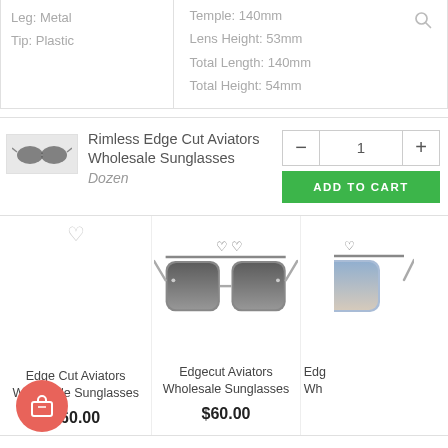Leg: Metal
Tip: Plastic
Temple: 140mm
Lens Height: 53mm
Total Length: 140mm
Total Height: 54mm
Rimless Edge Cut Aviators Wholesale Sunglasses
Dozen
1
ADD TO CART
Edge Cut Aviators Wholesale Sunglasses
Edgecut Aviators Wholesale Sunglasses
$60.00
$60.00